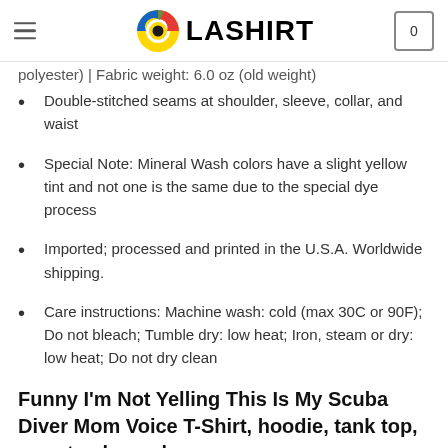OLASHIRT
polyester) | Fabric weight: 6.0 oz (old weight)
Double-stitched seams at shoulder, sleeve, collar, and waist
Special Note: Mineral Wash colors have a slight yellow tint and not one is the same due to the special dye process
Imported; processed and printed in the U.S.A. Worldwide shipping.
Care instructions: Machine wash: cold (max 30C or 90F); Do not bleach; Tumble dry: low heat; Iron, steam or dry: low heat; Do not dry clean
Funny I'm Not Yelling This Is My Scuba Diver Mom Voice T-Shirt, hoodie, tank top, sweater, long sleeve
Olashirt is the go-to place for anyone looking to realize their